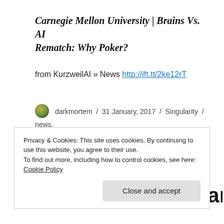Carnegie Mellon University | Brains Vs. AI Rematch: Why Poker?
from KurzweilAI » News http://ift.tt/2ke12rT
darkmortem / 31 January, 2017 / Singularity / news, Singularity / Leave a comment
Elon Musk and Stephen Hawking warn of artificial
Privacy & Cookies: This site uses cookies. By continuing to use this website, you agree to their use.
To find out more, including how to control cookies, see here:
Cookie Policy
Close and accept